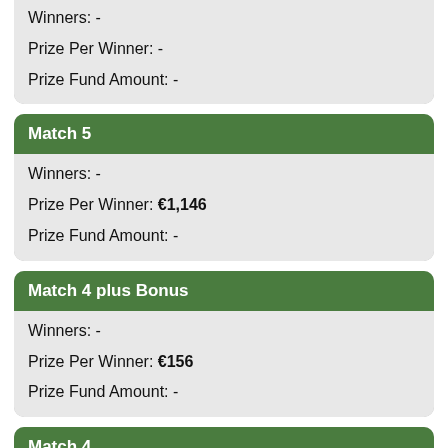Winners: -
Prize Per Winner: -
Prize Fund Amount: -
Match 5
Winners: -
Prize Per Winner: €1,146
Prize Fund Amount: -
Match 4 plus Bonus
Winners: -
Prize Per Winner: €156
Prize Fund Amount: -
Match 4
Winners: -
Prize Per Winner: €51